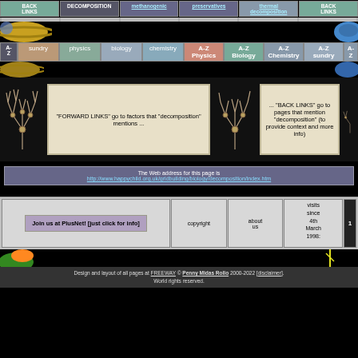BACK LINKS | DECOMPOSITION | methanogenic | preservatives | thermal decomposition | BACK LINKS
A-Z | sundry | physics | biology | chemistry | A-Z Physics | A-Z Biology | A-Z Chemistry | A-Z sundry | A-Z
[Figure (illustration): Tree/nerve diagram illustration on dark background]
"FORWARD LINKS" go to factors that "decomposition" mentions ...
[Figure (illustration): Tree/nerve diagram illustration on dark background]
... "BACK LINKS" go to pages that mention "decomposition" (to provide context and more info)
The Web address for this page is http://www.happychild.org.uk/gridbuilding/biology/decomposition/index.htm
Join us at PlusNet! [just click for info]
copyright
about us
visits since 4th March 1998:
Design and layout of all pages at FREEWAY © Penny Midas Rollo 2000-2022 [disclaimer]. World rights reserved.